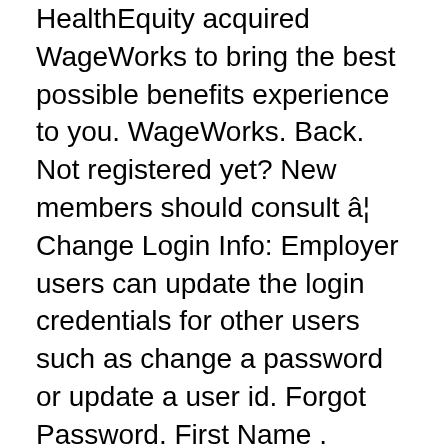HealthEquity acquired WageWorks to bring the best possible benefits experience to you. WageWorks. Back. Not registered yet? New members should consult â¦ Change Login Info: Employer users can update the login credentials for other users such as change a password or update a user id. Forgot Password. First Name . Identify Yourself. Welcome. During the upgrade, the system will be temporarily unavailable. COM COM COM. WageWorks is the industry leading provider of tax-advantaged consumer directed health, commuter & employee benefit plans in the United States. Store login information, credit cards, and more, so you can fill them with a single click. Password: Not registered yet? Please enter the Birth Date and E-mail address you provided when you registered. Your ID Code is the last 4 digits of one of the following: Your social security number Your employee number Code provided by your program sponsor . Client Services. Law360 (February 2, 2021, 5:49 PM EST) -- The former CEO and chief financial officer of flexible spending account provider WageWorks agreed Tuesday to pay